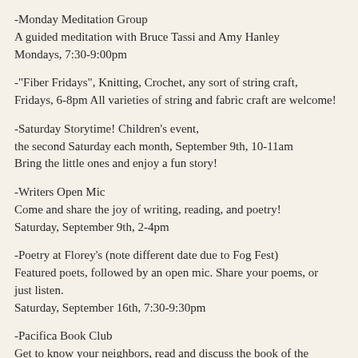-Monday Meditation Group
A guided meditation with Bruce Tassi and Amy Hanley
Mondays, 7:30-9:00pm
-"Fiber Fridays", Knitting, Crochet, any sort of string craft,
Fridays, 6-8pm All varieties of string and fabric craft are welcome!
-Saturday Storytime! Children's event,
the second Saturday each month, September 9th, 10-11am
Bring the little ones and enjoy a fun story!
-Writers Open Mic
Come and share the joy of writing, reading, and poetry!
Saturday, September 9th, 2-4pm
-Poetry at Florey's (note different date due to Fog Fest)
Featured poets, followed by an open mic. Share your poems, or just listen.
Saturday, September 16th, 7:30-9:30pm
-Pacifica Book Club
Get to know your neighbors, read and discuss the book of the